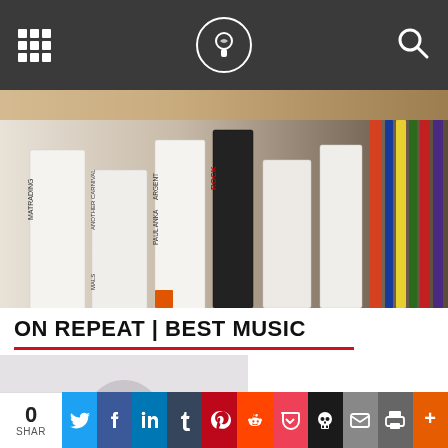Navigation bar with grid menu, logo, and search icon
[Figure (photo): Close-up photo of vinyl records in a record store, arranged in divider sections with hand-written labels: MATRADING, ANOTHER CARNIVAL, ARGENT, PAUL ANKA, MALS, ROCK, and other labels visible]
ON REPEAT | BEST MUSIC
[Figure (photo): Faded/washed out photo of a person in a record store, partially obscured]
Thank you for visiting. You can now buy me a coffee!
0 SHAR | Twitter | Facebook | LinkedIn | Tumblr | Pinterest | Reddit | Pocket | Skull | Email | Print | More